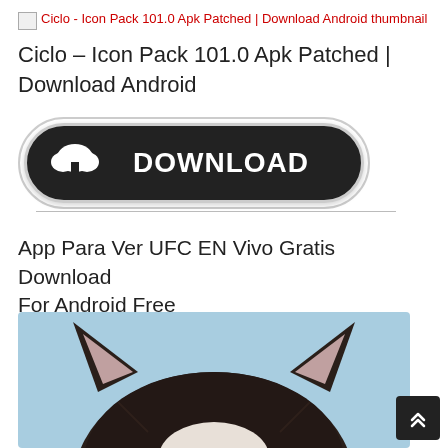[Figure (screenshot): Broken image icon followed by red hyperlink text: 'Ciclo - Icon Pack 101.0 Apk Patched | Download Android thumbnail']
Ciclo – Icon Pack 101.0 Apk Patched | Download Android
[Figure (illustration): Dark pill-shaped download button with cloud and arrow icon on the left and 'DOWNLOAD' text in white bold letters on dark background, outlined with light gray border]
App Para Ver UFC EN Vivo Gratis Download For Android Free
[Figure (photo): Close-up of a dark brown/black cat's head and ears from above against a light blue background]